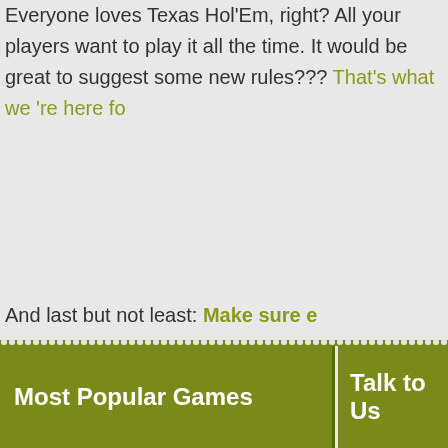Everyone loves Texas Hol'Em, right? All your players want to play it all the time. It would be great to suggest some new rules??? That's what we're here for!
And last but not least: Make sure e...
If you're fortunate enough to host, you can't guarantee everyone walks away... everyone has fun.
Most Popular Games | Talk to Us